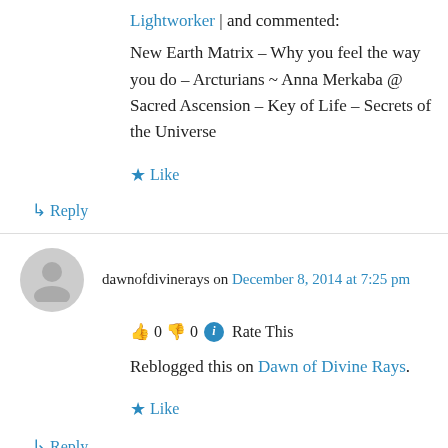Lightworker | and commented:
New Earth Matrix – Why you feel the way you do – Arcturians ~ Anna Merkaba @ Sacred Ascension – Key of Life – Secrets of the Universe
★ Like
↳ Reply
dawnofdivinerays on December 8, 2014 at 7:25 pm
👍 0 👎 0 ℹ Rate This
Reblogged this on Dawn of Divine Rays.
★ Like
↳ Reply